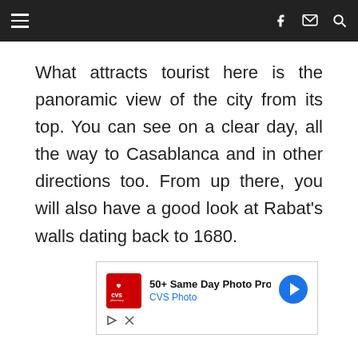Navigation bar with hamburger menu, facebook, email, and search icons
What attracts tourist here is the panoramic view of the city from its top. You can see on a clear day, all the way to Casablanca and in other directions too. From up there, you will also have a good look at Rabat's walls dating back to 1680.
[Figure (other): CVS Pharmacy advertisement: '50+ Same Day Photo Products' and 'CVS Photo' with CVS logo and blue arrow icon, with play and close controls below]